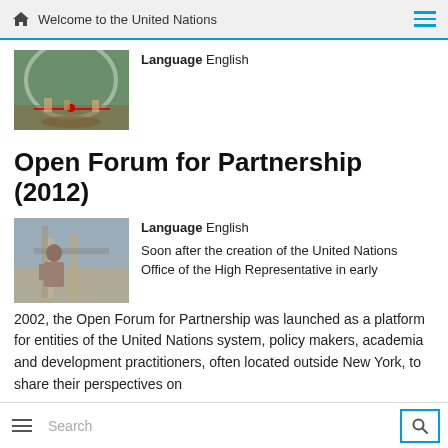Welcome to the United Nations
[Figure (photo): Photo thumbnail showing people gathered under an archway outdoors]
Language English
Open Forum for Partnership (2012)
[Figure (photo): Photo thumbnail showing a man working with machinery or equipment]
Language English
Soon after the creation of the United Nations Office of the High Representative in early 2002, the Open Forum for Partnership was launched as a platform for entities of the United Nations system, policy makers, academia and development practitioners, often located outside New York, to share their perspectives on